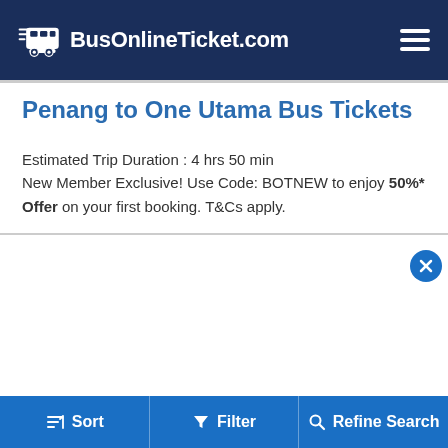BusOnlineTicket.com
Penang to One Utama Bus Tickets
Estimated Trip Duration : 4 hrs 50 min
New Member Exclusive! Use Code: BOTNEW to enjoy 50%* Offer on your first booking. T&Cs apply.
[Figure (screenshot): Search form with From: Penang, To: One Utama, Depart Date field, and a swap button]
Sort   Filter   Refine Search